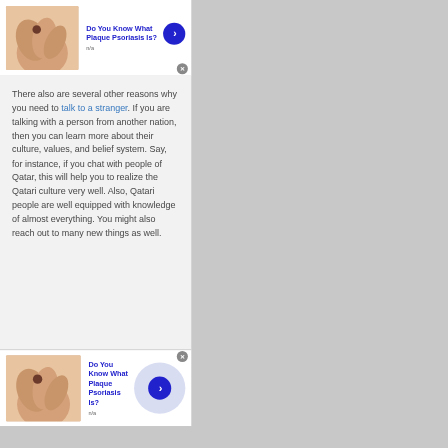[Figure (other): Advertisement banner: skin/hand image thumbnail with 'Do You Know What Plaque Psoriasis Is?' title, n/a subtitle, blue arrow button]
There also are several other reasons why you need to talk to a stranger. If you are talking with a person from another nation, then you can learn more about their culture, values, and belief system. Say, for instance, if you chat with people of Qatar, this will help you to realize the Qatari culture very well. Also, Qatari people are well equipped with knowledge of almost everything. You might also reach out to many new things as well.
[Figure (other): Advertisement banner: skin/hand image thumbnail with 'Do You Know What Plaque Psoriasis Is?' title, n/a subtitle, blue arrow button with lavender circle overlay]